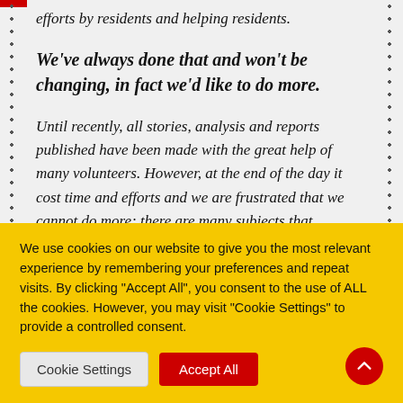efforts by residents and helping residents.
We've always done that and won't be changing, in fact we'd like to do more.
Until recently, all stories, analysis and reports published have been made with the great help of many volunteers. However, at the end of the day it cost time and efforts and we are frustrated that we cannot do more; there are many subjects that
We use cookies on our website to give you the most relevant experience by remembering your preferences and repeat visits. By clicking "Accept All", you consent to the use of ALL the cookies. However, you may visit "Cookie Settings" to provide a controlled consent.